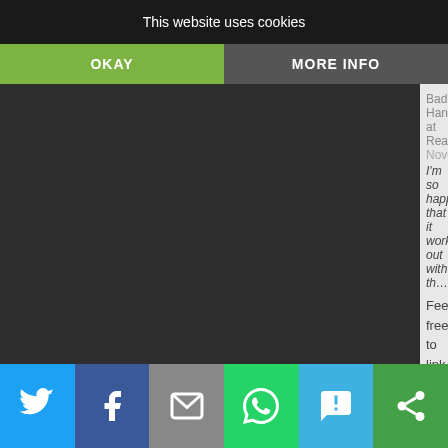This website uses cookies
OKAY
MORE INFO
Feel free to link up any weekend at th…
Also, we are reading all weekend at… giveaway going on, too!
Reply
Sveta  November 29, 2019 at 3:41 AM
The kitty looks precious :) enjoy your…
Reply
crackercrumblife  November 30, 201…
What a cutie!! How nice of you to do… were able to find your other kitty as we…
Reply